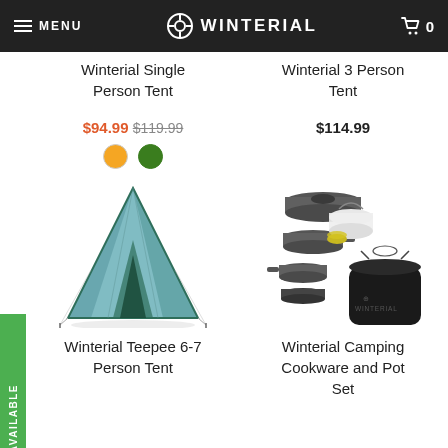MENU | WINTERIAL | 0
Winterial Single Person Tent
Winterial 3 Person Tent
$94.99 $119.99
$114.99
[Figure (illustration): Color swatches: orange circle and green circle]
[Figure (illustration): Winterial Teepee 6-7 Person Tent - green teepee-style tent]
[Figure (illustration): Winterial Camping Cookware and Pot Set - grey cookware set with black bag]
Winterial Teepee 6-7 Person Tent
Winterial Camping Cookware and Pot Set